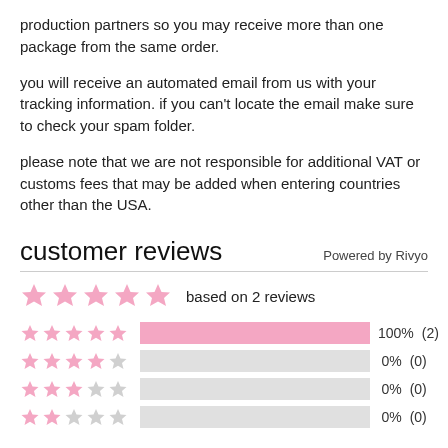production partners so you may receive more than one package from the same order.
you will receive an automated email from us with your tracking information. if you can't locate the email make sure to check your spam folder.
please note that we are not responsible for additional VAT or customs fees that may be added when entering countries other than the USA.
customer reviews
Powered by Rivyo
based on 2 reviews
[Figure (bar-chart): Rating distribution]